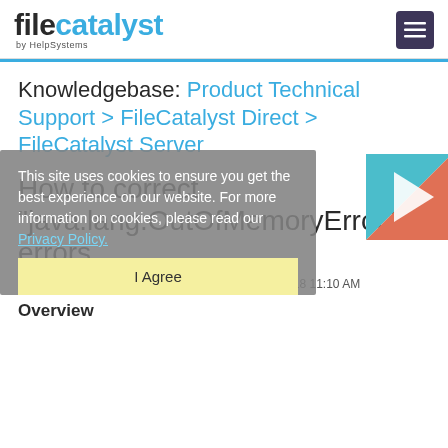filecatalyst by HelpSystems
Knowledgebase: Product Technical Support > FileCatalyst Direct > FileCatalyst Server
How to correct "java.lang.OutOfMemoryError" errors
Posted by , Last modified by Aly Essa on 24 July 2018 11:10 AM
This site uses cookies to ensure you get the best experience on our website. For more information on cookies, please read our Privacy Policy.
Overview